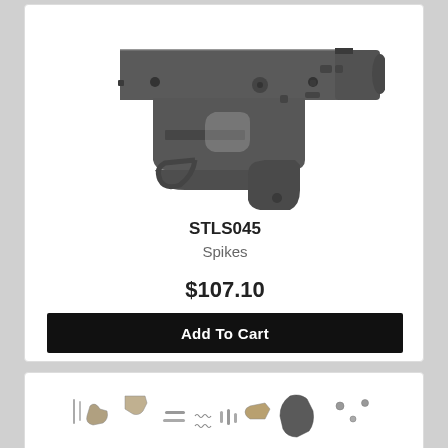[Figure (photo): AR-15 lower receiver, dark grey/black anodized aluminum, Spikes Tactical brand, shown from the left side with pistol grip area, trigger guard, and various machined features visible.]
STLS045
Spikes
$107.10
Add To Cart
[Figure (photo): Lower parts kit for AR-15, showing various small metal components including pins, springs, trigger, hammer, selector, and pistol grip spread out on a white background.]